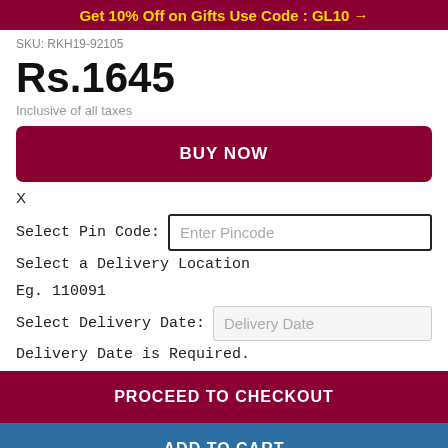Get 10% Off on Gifts Use Code : GL10 →
SKU: RKH19-92105
Rs.1645
Inclusive of all taxes
BUY NOW
X
Select Pin Code:  Enter Pincode
Select a Delivery Location
Eg. 110091
Select Delivery Date:  Delivery Date
Delivery Date is Required.
PROCEED TO CHECKOUT
ADD TO CART